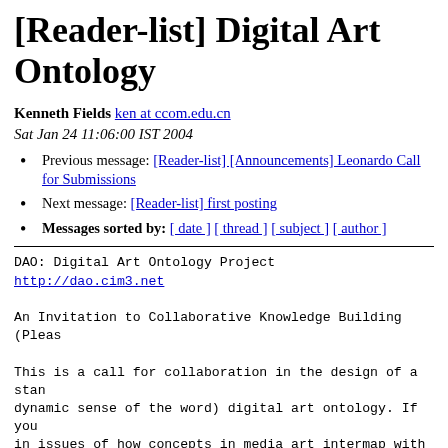[Reader-list] Digital Art Ontology
Kenneth Fields ken at ccom.edu.cn
Sat Jan 24 11:06:00 IST 2004
Previous message: [Reader-list] [Announcements] Leonardo Call for Submissions
Next message: [Reader-list] first posting
Messages sorted by: [ date ] [ thread ] [ subject ] [ author ]
DAO: Digital Art Ontology Project
http://dao.cim3.net

An Invitation to Collaborative Knowledge Building  (Pleas

This is a call for collaboration in the design of a stan
dynamic sense of the word) digital art ontology. If you 
in issues of how concepts in media art intermap with neig
structured knowledge domains, then please contribute your
toward what is intended to be a (re)useable knowledge bas
our community.  Knowledge domain experts must contribute
knowledge organization efforts (digital libraries, semant
concept representation and navigation) in their field. N